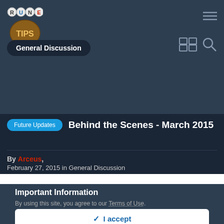[Figure (logo): RuneTips logo with letter beads spelling RUNE and a brown coin/shield with TIPS text]
[Figure (other): Hamburger menu icon (three horizontal lines) in top-right of nav]
General Discussion
[Figure (other): Grid/magazine view icon and search magnifying glass icon on right side of navigation bar]
Behind the Scenes - March 2015
Future Updates
By Arceus, February 27, 2015 in General Discussion
Important Information
By using this site, you agree to our Terms of Use.
✓ I accept